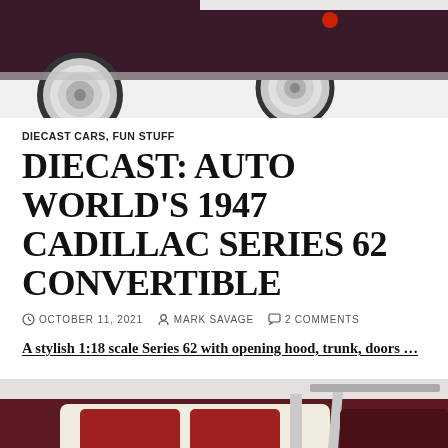[Figure (photo): Close-up photo of a diecast car model showing chrome wheels and dark maroon body against a light background]
DIECAST CARS, FUN STUFF
DIECAST: AUTO WORLD'S 1947 CADILLAC SERIES 62 CONVERTIBLE
OCTOBER 11, 2021  MARK SAVAGE  2 COMMENTS
A stylish 1:18 scale Series 62 with opening hood, trunk, doors …
[Figure (photo): Photo of a dark maroon 1947 Cadillac Series 62 Convertible diecast model with open hood showing interior details, chrome trim visible]